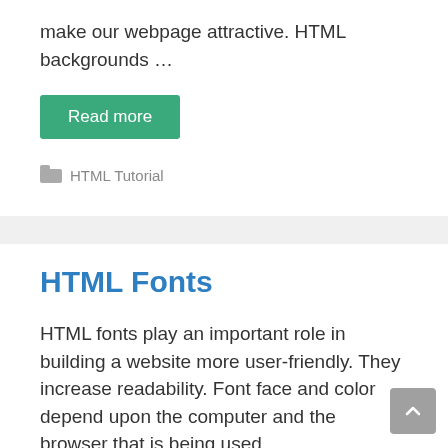make our webpage attractive. HTML backgrounds …
Read more
HTML Tutorial
HTML Fonts
HTML fonts play an important role in building a website more user-friendly. They increase readability. Font face and color depend upon the computer and the browser that is being used …